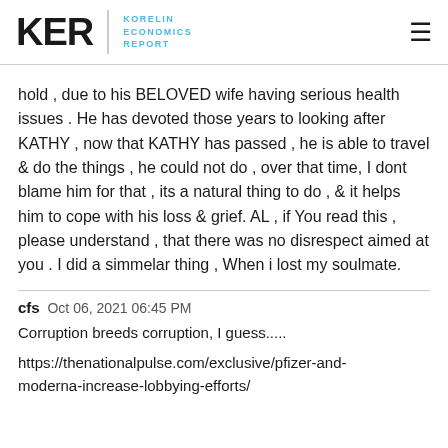KER | KORELIN ECONOMICS REPORT
hold , due to his BELOVED wife having serious health issues . He has devoted those years to looking after KATHY , now that KATHY has passed , he is able to travel & do the things , he could not do , over that time, I dont blame him for that , its a natural thing to do , & it helps him to cope with his loss & grief. AL , if You read this , please understand , that there was no disrespect aimed at you . I did a simmelar thing , When i lost my soulmate.
cfs  Oct 06, 2021 06:45 PM
Corruption breeds corruption, I guess.....
https://thenationalpulse.com/exclusive/pfizer-and-moderna-increase-lobbying-efforts/